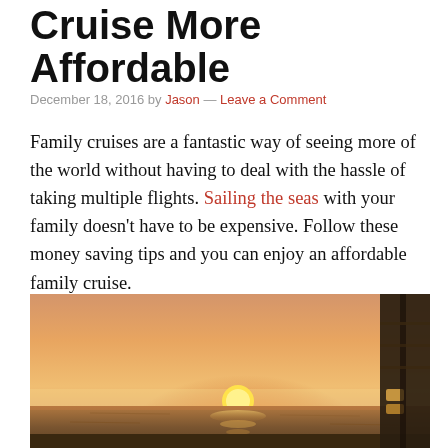Cruise More Affordable
December 18, 2016 by Jason — Leave a Comment
Family cruises are a fantastic way of seeing more of the world without having to deal with the hassle of taking multiple flights. Sailing the seas with your family doesn't have to be expensive. Follow these money saving tips and you can enjoy an affordable family cruise.
[Figure (photo): Sunset over the ocean viewed from the deck of a cruise ship, warm orange and pink sky with sun low on horizon, ocean water reflecting light, ship railing visible on the right.]